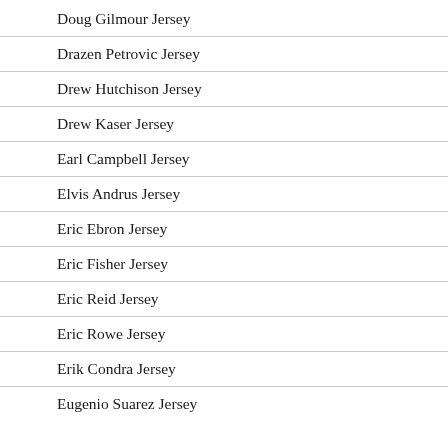Doug Gilmour Jersey
Drazen Petrovic Jersey
Drew Hutchison Jersey
Drew Kaser Jersey
Earl Campbell Jersey
Elvis Andrus Jersey
Eric Ebron Jersey
Eric Fisher Jersey
Eric Reid Jersey
Eric Rowe Jersey
Erik Condra Jersey
Eugenio Suarez Jersey